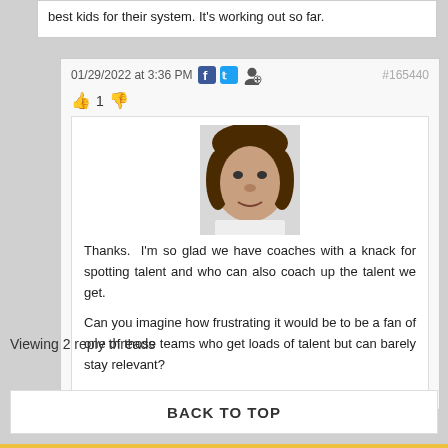best kids for their system. It's working out so far.
01/29/2022 at 3:36 PM  #165440
👍 1 👎
[Figure (photo): User avatar photo showing a person's face]
Thanks.  I'm so glad we have coaches with a knack for spotting talent and who can also coach up the talent we get.

Can you imagine how frustrating it would be to be a fan of one of those teams who get loads of talent but can barely stay relevant?
Viewing 2 reply threads
BACK TO TOP